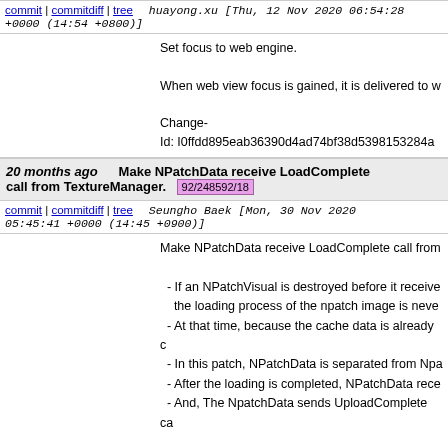commit | commitdiff | tree   huayong.xu [Thu, 12 Nov 2020 06:54:28 +0000 (14:54 +0800)]
Set focus to web engine.

When web view focus is gained, it is delivered to w

Change-Id: I0ffdd895eab36390d4ad74bf38d5398153284a
20 months ago   Make NPatchData receive LoadComplete call from TextureManager. 92/248592/18
commit | commitdiff | tree   Seungho Baek [Mon, 30 Nov 2020 05:45:41 +0000 (14:45 +0900)]
Make NPatchData receive LoadComplete call from

 - If an NPatchVisual is destroyed before it receive the loading process of the npatch image is neve
 - At that time, because the cache data is already
 - In this patch, NPatchData is separated from Npa
 - After the loading is completed, NPatchData rece
 - And, The NpatchData sends UploadComplete ca

 + Additionally, this patch includes an method to re

Change-Id: I0879a9eaa62aac8533fbc6b8d9416805ab7a06
Signed-off-by: Seungho Baek